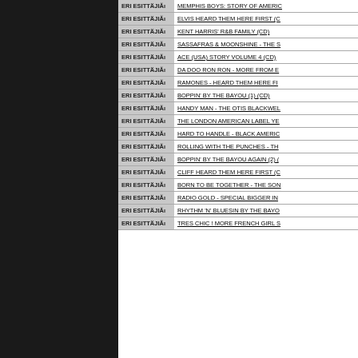| Presenter | Title |
| --- | --- |
| ERI ESITTÄJIĂı | MEMPHIS BOYS: STORY OF AMERIC... |
| ERI ESITTÄJIĂı | ELVIS HEARD THEM HERE FIRST (C... |
| ERI ESITTÄJIĂı | KENT HARRIS' R&B FAMILY (CD) |
| ERI ESITTÄJIĂı | SASSAFRAS & MOONSHINE - THE S... |
| ERI ESITTÄJIĂı | ACE (USA) STORY VOLUME 4 (CD) |
| ERI ESITTÄJIĂı | DA DOO RON RON - MORE FROM E... |
| ERI ESITTÄJIĂı | RAMONES - HEARD THEM HERE FI... |
| ERI ESITTÄJIĂı | BOPPIN' BY THE BAYOU (1) (CD) |
| ERI ESITTÄJIĂı | HANDY MAN - THE OTIS BLACKWEL... |
| ERI ESITTÄJIĂı | THE LONDON AMERICAN LABEL YE... |
| ERI ESITTÄJIĂı | HARD TO HANDLE - BLACK AMERIC... |
| ERI ESITTÄJIĂı | ROLLING WITH THE PUNCHES - TH... |
| ERI ESITTÄJIĂı | BOPPIN' BY THE BAYOU AGAIN (2) (... |
| ERI ESITTÄJIĂı | CLIFF HEARD THEM HERE FIRST (C... |
| ERI ESITTÄJIĂı | BORN TO BE TOGETHER - THE SON... |
| ERI ESITTÄJIĂı | RADIO GOLD - SPECIAL BIGGER IN... |
| ERI ESITTÄJIĂı | RHYTHM 'N' BLUESIN BY THE BAYO... |
| ERI ESITTÄJIĂı | TRES CHIC ! MORE FRENCH GIRL S... |